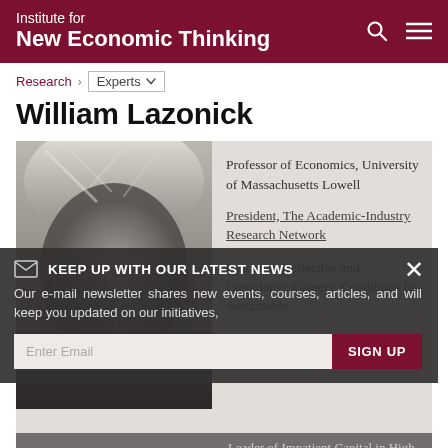Institute for New Economic Thinking
Research > Experts
William Lazonick
[Figure (photo): Black and white portrait photograph of William Lazonick, an older man with white hair]
Professor of Economics, University of Massachusetts Lowell
President, The Academic-Industry Research Network
Leader of Collective and Cumulative Careers: Conditions for Sustainable Prosperity
Leader of Impatient Capital in High-Tech Industries
Leader of The Stock Market and Innovative Enterprise
KEEP UP WITH OUR LATEST NEWS
Our e-mail newsletter shares new events, courses, articles, and will keep you updated on our initiatives.